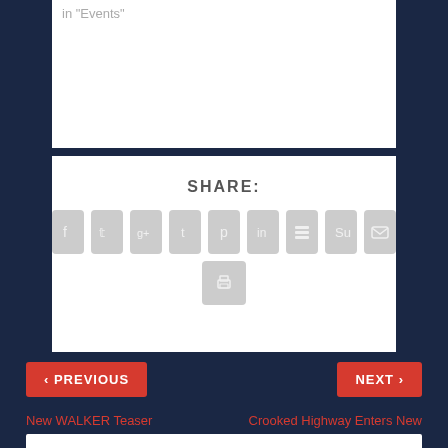in "Events"
SHARE:
[Figure (infographic): Social share buttons: Facebook, Twitter, Google+, Tumblr, Pinterest, LinkedIn, Buffer, StumbleUpon, Email, Print]
PREVIOUS
NEXT
New WALKER Teaser Reveals a Potential Conspiracy
Crooked Highway Enters New Deal With Blumhouse